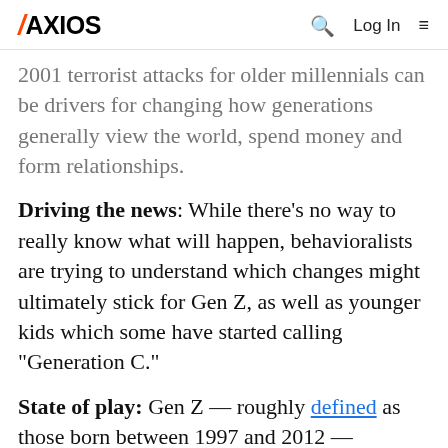AXIOS  [search] Log In [menu]
2001 terrorist attacks for older millennials can be drivers for changing how generations generally view the world, spend money and form relationships.
Driving the news: While there's no way to really know what will happen, behavioralists are trying to understand which changes might ultimately stick for Gen Z, as well as younger kids which some have started calling "Generation C."
State of play: Gen Z — roughly defined as those born between 1997 and 2012 — includes elementary-age kids up to young adulthood.